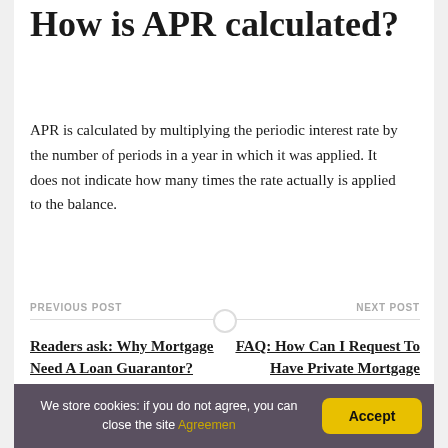How is APR calculated?
APR is calculated by multiplying the periodic interest rate by the number of periods in a year in which it was applied. It does not indicate how many times the rate actually is applied to the balance.
PREVIOUS POST | NEXT POST
Readers ask: Why Mortgage Need A Loan Guarantor?
FAQ: How Can I Request To Have Private Mortgage Insurance Removed From My Loan?
We store cookies: if you do not agree, you can close the site Agreemen  Accept